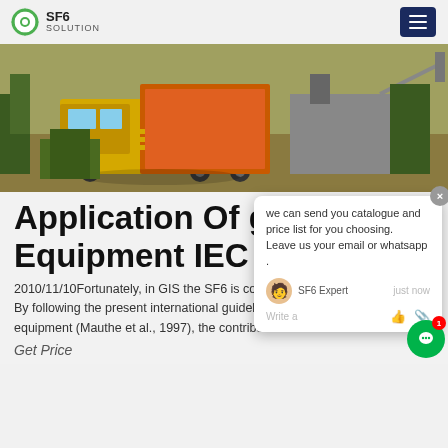SF6 SOLUTION
[Figure (photo): Outdoor photo of yellow industrial SF6 gas handling truck/vehicle with equipment mounted on it, parked near trees and a container.]
Application Of gis Equipment IEC 61...
2010/11/10Fortunately, in GIS the SF6 is contained and can be recycled. By following the present international guidelines for use of SF6 in electrical equipment (Mauthe et al., 1997), the contribution of SF6
Get Price